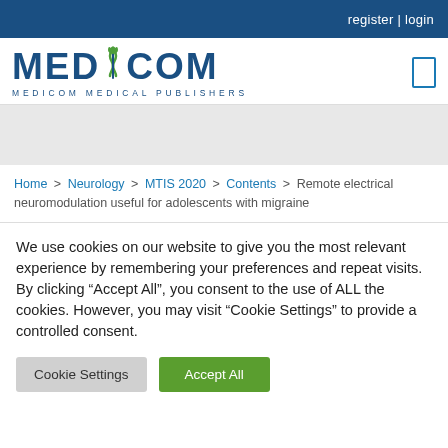register | login
[Figure (logo): Medicom Medical Publishers logo with caduceus symbol]
Home > Neurology > MTIS 2020 > Contents > Remote electrical neuromodulation useful for adolescents with migraine
We use cookies on our website to give you the most relevant experience by remembering your preferences and repeat visits. By clicking “Accept All”, you consent to the use of ALL the cookies. However, you may visit "Cookie Settings" to provide a controlled consent.
Cookie Settings | Accept All